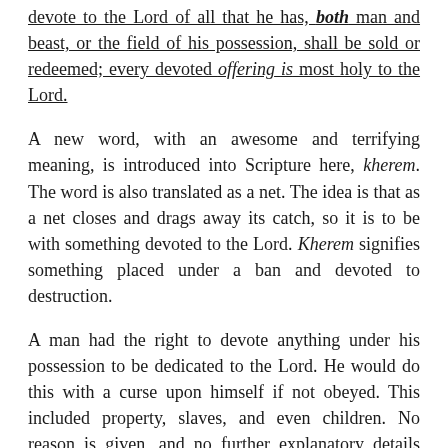devote to the Lord of all that he has, both man and beast, or the field of his possession, shall be sold or redeemed; every devoted offering is most holy to the Lord.
A new word, with an awesome and terrifying meaning, is introduced into Scripture here, kherem. The word is also translated as a net. The idea is that as a net closes and drags away its catch, so it is to be with something devoted to the Lord. Kherem signifies something placed under a ban and devoted to destruction.
A man had the right to devote anything under his possession to be dedicated to the Lord. He would do this with a curse upon himself if not obeyed. This included property, slaves, and even children. No reason is given, and no further explanatory details come later. All we have is that if such a pronouncement was made, the thing could not be sold or redeemed. Instead, it became devoted and most holy to the Lord. For property and assets, they